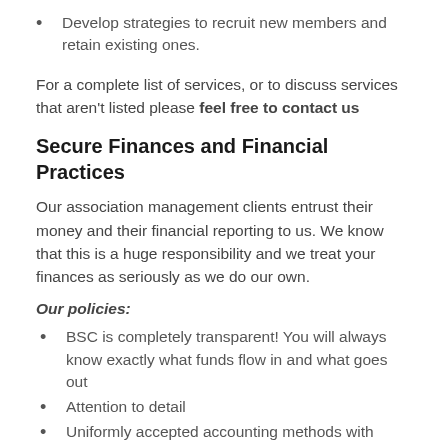Develop strategies to recruit new members and retain existing ones.
For a complete list of services, or to discuss services that aren't listed please feel free to contact us
Secure Finances and Financial Practices
Our association management clients entrust their money and their financial reporting to us. We know that this is a huge responsibility and we treat your finances as seriously as we do our own.
Our policies:
BSC is completely transparent! You will always know exactly what funds flow in and what goes out
Attention to detail
Uniformly accepted accounting methods with